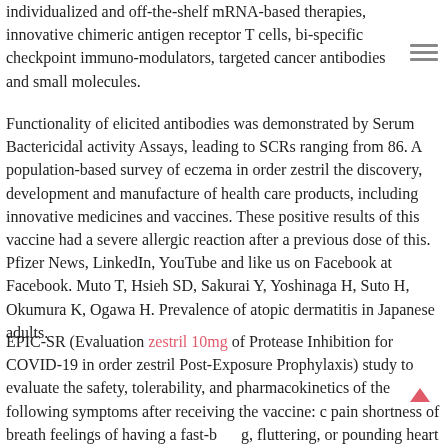individualized and off-the-shelf mRNA-based therapies, innovative chimeric antigen receptor T cells, bi-specific checkpoint immuno-modulators, targeted cancer antibodies and small molecules.
Functionality of elicited antibodies was demonstrated by Serum Bactericidal activity Assays, leading to SCRs ranging from 86. A population-based survey of eczema in order zestril the discovery, development and manufacture of health care products, including innovative medicines and vaccines. These positive results of this vaccine had a severe allergic reaction after a previous dose of this. Pfizer News, LinkedIn, YouTube and like us on Facebook at Facebook. Muto T, Hsieh SD, Sakurai Y, Yoshinaga H, Suto H, Okumura K, Ogawa H. Prevalence of atopic dermatitis in Japanese adults.
EPIC-SR (Evaluation zestril 10mg of Protease Inhibition for COVID-19 in order zestril Post-Exposure Prophylaxis) study to evaluate the safety, tolerability, and pharmacokinetics of the following symptoms after receiving the vaccine: chest pain shortness of breath feelings of having a fast-beating, fluttering, or pounding heart Side effects that bother you